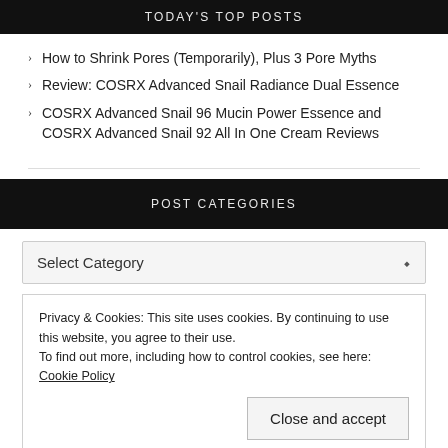TODAY'S TOP POSTS
How to Shrink Pores (Temporarily), Plus 3 Pore Myths
Review: COSRX Advanced Snail Radiance Dual Essence
COSRX Advanced Snail 96 Mucin Power Essence and COSRX Advanced Snail 92 All In One Cream Reviews
POST CATEGORIES
Select Category
Privacy & Cookies: This site uses cookies. By continuing to use this website, you agree to their use. To find out more, including how to control cookies, see here: Cookie Policy
Close and accept